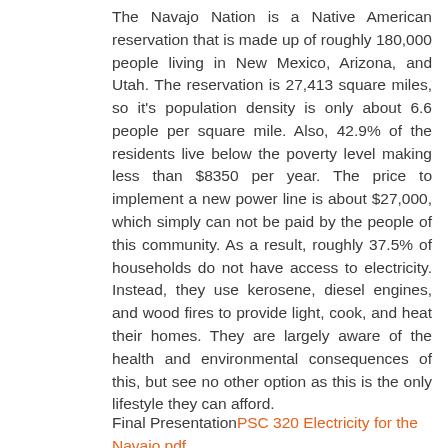The Navajo Nation is a Native American reservation that is made up of roughly 180,000 people living in New Mexico, Arizona, and Utah. The reservation is 27,413 square miles, so it's population density is only about 6.6 people per square mile. Also, 42.9% of the residents live below the poverty level making less than $8350 per year. The price to implement a new power line is about $27,000, which simply can not be paid by the people of this community. As a result, roughly 37.5% of households do not have access to electricity. Instead, they use kerosene, diesel engines, and wood fires to provide light, cook, and heat their homes. They are largely aware of the health and environmental consequences of this, but see no other option as this is the only lifestyle they can afford.
Final PresentationPSC 320 Electricity for the Navajo.pdf